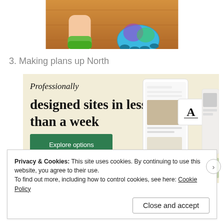[Figure (photo): Partial view of animated characters (Monsters Inc style) - a child's foot in green sock and a large blue/purple/green furry monster claw on wooden floor background]
3. Making plans up North
[Figure (screenshot): Squarespace advertisement banner with beige background showing text 'Professionally designed sites in less than a week', a green 'Explore options' button, and website mockup screenshots on the right side]
Privacy & Cookies: This site uses cookies. By continuing to use this website, you agree to their use.
To find out more, including how to control cookies, see here: Cookie Policy
Close and accept